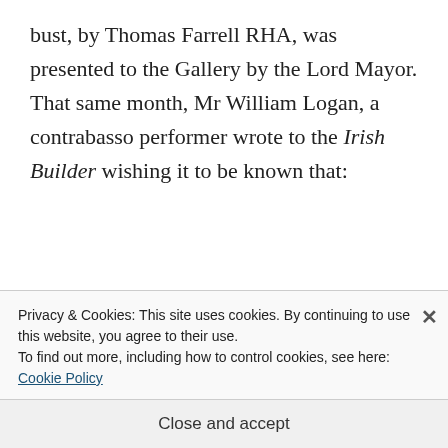bust, by Thomas Farrell RHA, was presented to the Gallery by the Lord Mayor. That same month, Mr William Logan, a contrabasso performer wrote to the Irish Builder wishing it to be known that:
I am the owner of the house, 10 Pitt-street, in which Balfe was born. I take a pride in living in
Privacy & Cookies: This site uses cookies. By continuing to use this website, you agree to their use.
To find out more, including how to control cookies, see here: Cookie Policy
Close and accept